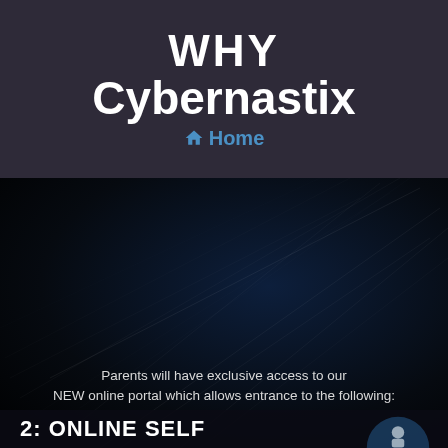WHY
Cybernastix
@ Home
Parents will have exclusive access to our NEW online portal which allows entrance to the following:
[Figure (illustration): Blue circle with grey gymnast/baby icon performing a move]
1:ONLINE MILESTONE VIEW
Track and capture your child's milestones while viewing informational videos developing fundamental skills. (2-24 months)
2: ONLINE SELF
[Figure (illustration): Partially visible blue circle with person icon at bottom right]